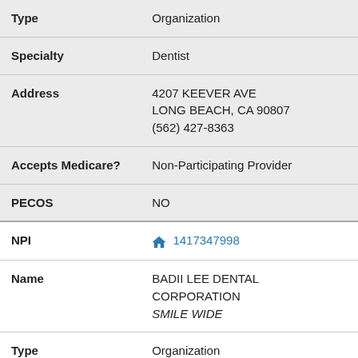| Type | Organization |
| Specialty | Dentist |
| Address | 4207 KEEVER AVE
LONG BEACH, CA 90807
(562) 427-8363 |
| Accepts Medicare? | Non-Participating Provider |
| PECOS | NO |
| NPI | 1417347998 |
| Name | BADII LEE DENTAL CORPORATION
SMILE WIDE |
| Type | Organization |
| Specialty | Dentist |
| Address | 2360 PACIFIC AVE
LONG BEACH, CA 90806 |